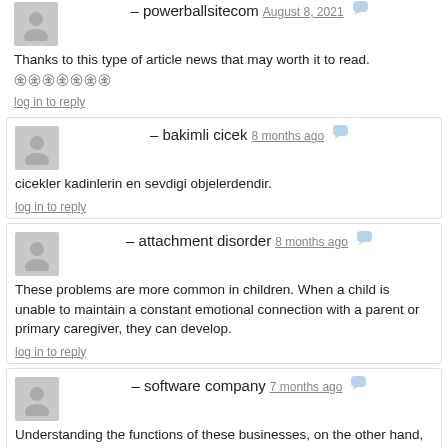– powerballsitecom  August 8, 2021
Thanks to this type of article news that may worth it to read.
🀱🀱🀱🀱🀱🀱🀱
log in to reply
– bakimli cicek  8 months ago
cicekler kadinlerin en sevdigi objelerdendir.
log in to reply
– attachment disorder  8 months ago
These problems are more common in children. When a child is unable to maintain a constant emotional connection with a parent or primary caregiver, they can develop.
log in to reply
– software company  7 months ago
Understanding the functions of these businesses, on the other hand, is crucial. Each plays a distinct purpose in assisting enterprises in becoming more efficient.
log in to reply